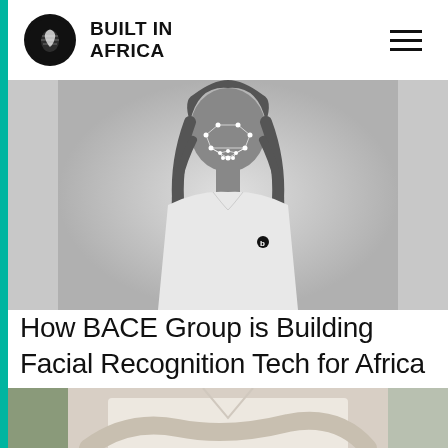BUILT IN AFRICA
[Figure (photo): Black and white photo of a woman with facial recognition overlay dots and lines mapped across her face, wearing a white t-shirt with BACE Africa logo]
How BACE Group is Building Facial Recognition Tech for Africa
[Figure (photo): Color photo of a woman in a white shirt, arms crossed, partially visible from torso]